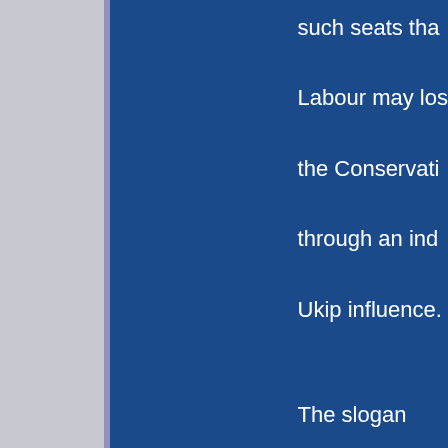such seats that Labour may lose the Conservative through an ind Ukip influence. The slogan “Vote Ukip, Labour’ is w used within the Conservative p to scare those voters thinking switching allegiance to Farage’s p with the threat